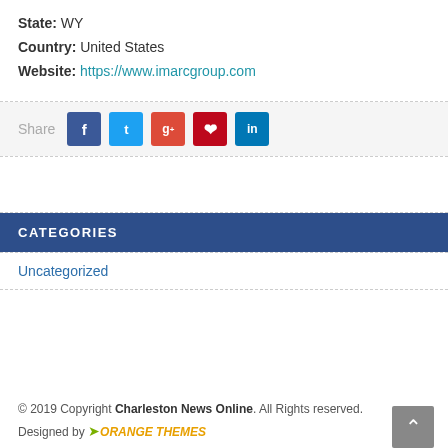State: WY
Country: United States
Website: https://www.imarcgroup.com
[Figure (infographic): Social share bar with Share label and five social media buttons: Facebook (blue), Twitter (cyan), Google+ (orange-red), Pinterest (red), LinkedIn (blue)]
CATEGORIES
Uncategorized
© 2019 Copyright Charleston News Online. All Rights reserved. Designed by ORANGE THEMES